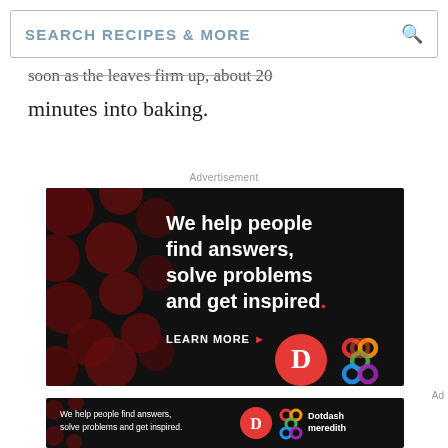SEARCH RECIPES & MORE
soon as the leaves firm up, about 20 minutes into baking.
Advertisement
[Figure (illustration): Dotdash Meredith advertisement: black background with dark red polka dots, white bold text reading 'We help people find answers, solve problems and get inspired.' with a red period, 'LEARN MORE' with red arrow, D logo in red circle, and colorful Meredith lattice logo]
[Figure (illustration): Dotdash Meredith bottom banner ad: black background with white text 'We help people find answers, solve problems and get inspired.' with D logo, Meredith lattice logo, and 'Dotdash meredith' text]
Ad